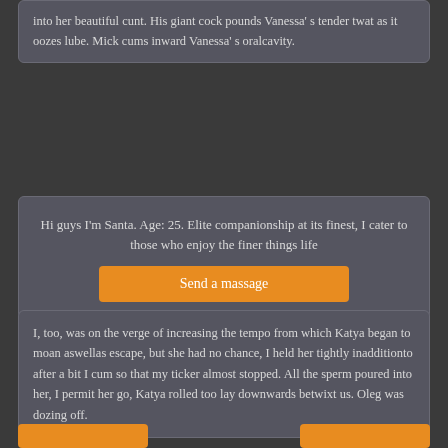into her beautiful cunt. His giant cock pounds Vanessa’s tender twat as it oozes lube. Mick cums inward Vanessa’s oralcavity.
Hi guys I'm Santa. Age: 25. Elite companionship at its finest, I cater to those who enjoy the finer things life
Send a massage
I, too, was on the verge of increasing the tempo from which Katya began to moan aswellas escape, but she had no chance, I held her tightly inadditionto after a bit I cum so that my ticker almost stopped. All the sperm poured into her, I permit her go, Katya rolled too lay downwards betwixt us. Oleg was dozing off.